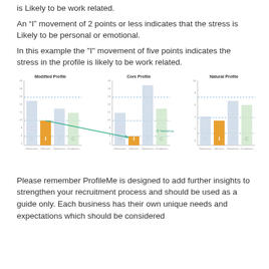is Likely to be work related.
An “I” movement of 2 points or less indicates that the stress is Likely to be personal or emotional.
In this example the "I" movement of five points indicates the stress in the profile is likely to be work related.
[Figure (grouped-bar-chart): Three DISC bar charts side by side labeled Modified Profile, Core Profile, and Natural Profile. Each chart shows D, I, S, C bars. The Core Profile shows a '5 Variance' annotation with an arrow pointing to the I bar, connected by a teal line from the Modified Profile I bar.]
Please remember ProfileMe is designed to add further insights to strengthen your recruitment process and should be used as a guide only. Each business has their own unique needs and expectations which should be considered